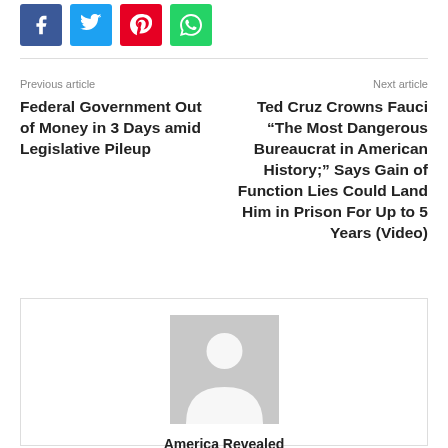[Figure (other): Social share buttons: Facebook (blue), Twitter (light blue), Pinterest (red), WhatsApp (green)]
Previous article
Next article
Federal Government Out of Money in 3 Days amid Legislative Pileup
Ted Cruz Crowns Fauci “The Most Dangerous Bureaucrat in American History;” Says Gain of Function Lies Could Land Him in Prison For Up to 5 Years (Video)
[Figure (illustration): Generic user avatar placeholder (grey silhouette on grey background)]
America Revealed